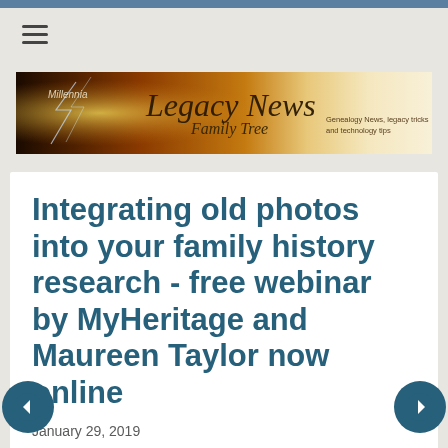[Figure (logo): Legacy News Family Tree banner logo with dark dramatic background on the left and warm beige on the right, showing 'Millennia', 'Legacy News', 'Family Tree', 'Genealogy News, legacy tricks and technology tips']
Integrating old photos into your family history research - free webinar by MyHeritage and Maureen Taylor now online
January 29, 2019